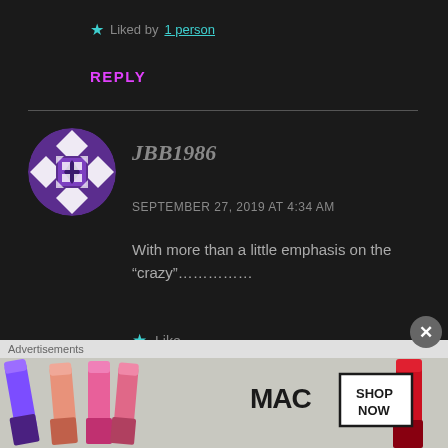Liked by 1 person
REPLY
JBB1986
SEPTEMBER 27, 2019 AT 4:34 AM
With more than a little emphasis on the “crazy”……………
Like
Advertisements
[Figure (photo): MAC cosmetics advertisement showing lipsticks in purple, peach, and pink colors with MAC logo and SHOP NOW button]